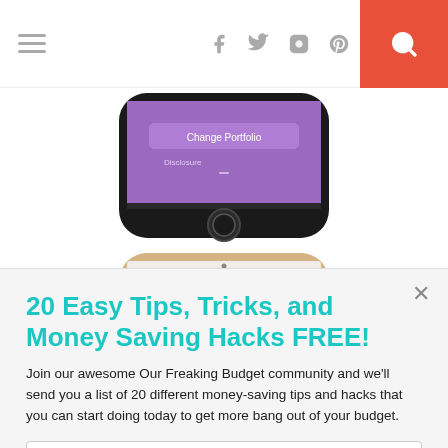Navigation header with hamburger menu, social icons (facebook, twitter, instagram, pinterest, heart, rss), and search button
[Figure (screenshot): Bottom portion of a black iPhone showing a purple screen with 'Change Portfolio' text and home button, and below it a gold iPhone showing 'POWERED BY SUMO' branding]
20 Easy Tips, Tricks, and Money Saving Hacks FREE!
Join our awesome Our Freaking Budget community and we'll send you a list of 20 different money-saving tips and hacks that you can start doing today to get more bang out of your budget.
Enter your Email
Sign Me Up!